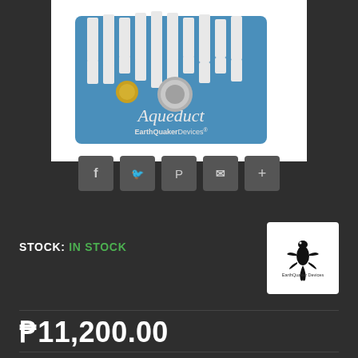[Figure (photo): EarthQuaker Devices Aqueduct guitar pedal — blue sparkle enclosure with white knob graphics, yellow and silver knobs, branded with 'Aqueduct' and 'EarthQuakerDevices' text on white background]
[Figure (infographic): Row of five social sharing buttons: Facebook (f), Twitter bird, Pinterest (P), Email (envelope), and More (+), grey rounded square buttons]
STOCK: IN STOCK
[Figure (logo): EarthQuaker Devices logo — gecko/lizard silhouette with 'EarthQuaker Devices' text below, on white square background]
₱11,200.00